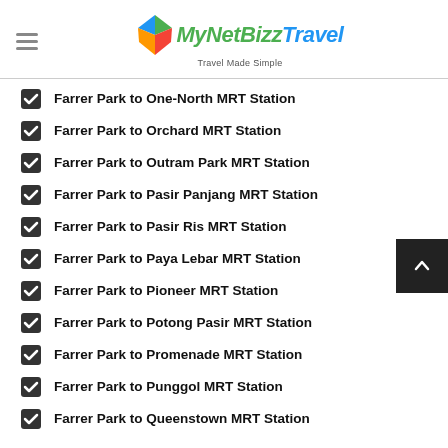MyNetBizz Travel — Travel Made Simple
Farrer Park to One-North MRT Station
Farrer Park to Orchard MRT Station
Farrer Park to Outram Park MRT Station
Farrer Park to Pasir Panjang MRT Station
Farrer Park to Pasir Ris MRT Station
Farrer Park to Paya Lebar MRT Station
Farrer Park to Pioneer MRT Station
Farrer Park to Potong Pasir MRT Station
Farrer Park to Promenade MRT Station
Farrer Park to Punggol MRT Station
Farrer Park to Queenstown MRT Station